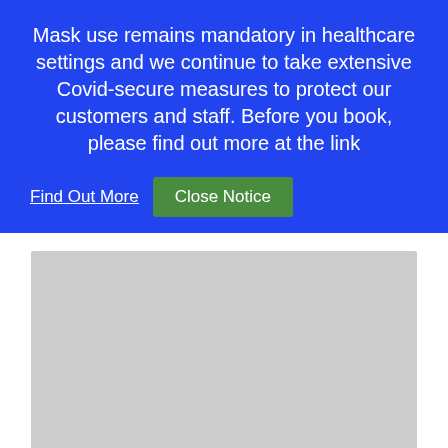Mask use remains mandatory in healthcare settings and we continue to take extensive Covid-secure measures to protect our customers and staff. Before you book, please find out more at the link
Find Out More
Close Notice
[Figure (photo): Product image placeholder — light grey rectangle]
Audio Service Quixx 16 G6
£1,895.00 £1,695.00 inc VAT